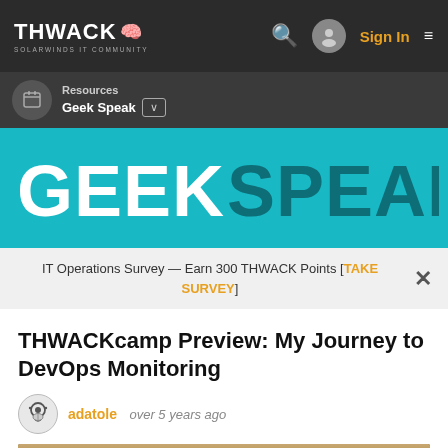THWACK SOLARWINDS IT COMMUNITY — Sign In
Resources
Geek Speak
[Figure (logo): GEEKSPEAK logo in white and dark teal on cyan/teal background]
IT Operations Survey — Earn 300 THWACK Points [TAKE SURVEY]
THWACKcamp Preview: My Journey to DevOps Monitoring
adatole   over 5 years ago
[Figure (photo): Sepia-toned outdoor photo with trees, partially visible at bottom of page]